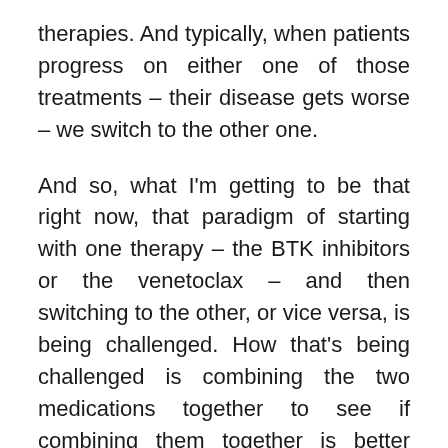therapies. And typically, when patients progress on either one of those treatments – their disease gets worse – we switch to the other one.
And so, what I'm getting to be that right now, that paradigm of starting with one therapy – the BTK inhibitors or the venetoclax – and then switching to the other, or vice versa, is being challenged. How that's being challenged is combining the two medications together to see if combining them together is better than giving them sequentially. So, I think this is the primary research that's being looked at in the world of CLL and we got some updates to show that the combination of the